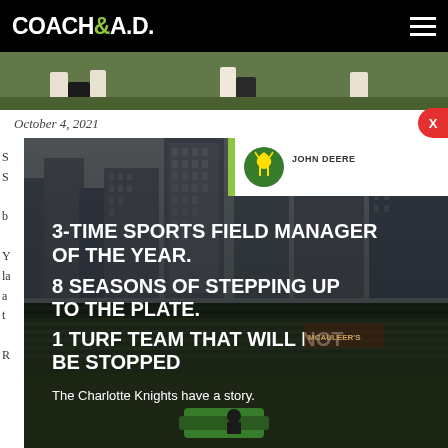COACH&A.D.
October 4, 2021
[Figure (photo): John Deere advertisement showing a baseball stadium at night with city buildings in background. Text overlay reads: 3-TIME SPORTS FIELD MANAGER OF THE YEAR. 8 SEASONS OF STEPPING UP TO THE PLATE. 1 TURF TEAM THAT WILL NOT BE STOPPED. The Charlotte Knights have a story. John Deere logo in top right corner.]